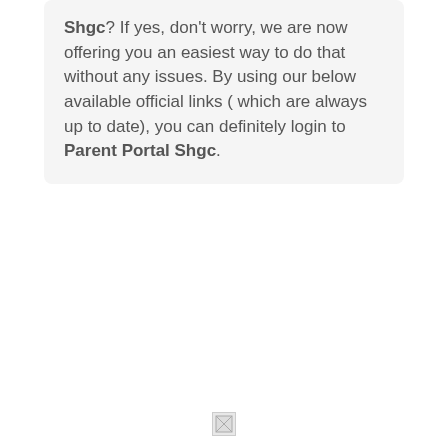Shgc? If yes, don't worry, we are now offering you an easiest way to do that without any issues. By using our below available official links ( which are always up to date), you can definitely login to Parent Portal Shgc.
[Figure (other): Broken/missing image placeholder icon at the bottom center of the page]